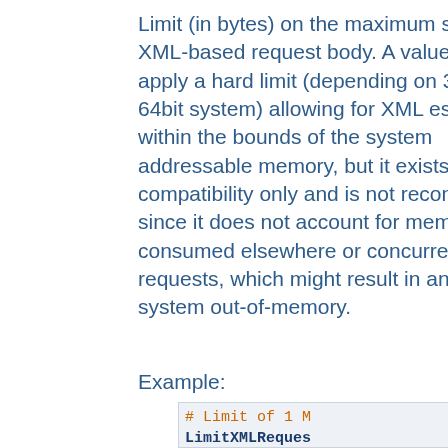Limit (in bytes) on the maximum size of an XML-based request body. A value of 0 will apply a hard limit (depending on 32bit vs 64bit system) allowing for XML escaping within the bounds of the system addressable memory, but it exists for compatibility only and is not recommended since it does not account for memory consumed elsewhere or concurrent requests, which might result in an overall system out-of-memory.
Example:
# Limit of 1 M
LimitXMLReques